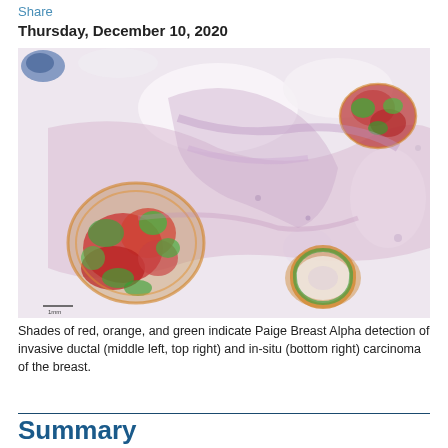Share
Thursday, December 10, 2020
[Figure (photo): Histopathology microscopy slide image of breast tissue showing H&E staining with color overlays (red, orange, green) indicating AI detection regions for invasive ductal carcinoma (middle left and top right) and in-situ carcinoma (bottom right) by Paige Breast Alpha.]
Shades of red, orange, and green indicate Paige Breast Alpha detection of invasive ductal (middle left, top right) and in-situ (bottom right) carcinoma of the breast.
Summary